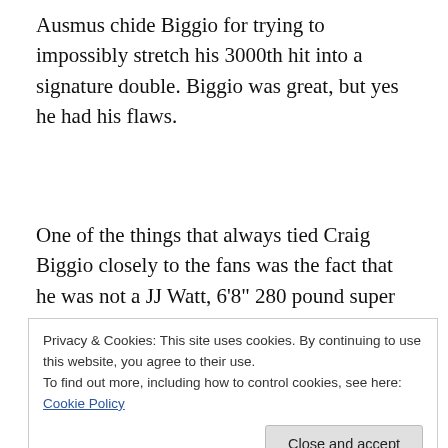Ausmus chide Biggio for trying to impossibly stretch his 3000th hit into a signature double. Biggio was great, but yes he had his flaws.
One of the things that always tied Craig Biggio closely to the fans was the fact that he was not a JJ Watt, 6'8" 280 pound super human. Sure, the fans love JJ, but more like a Norse god, not like the normal everyman that Bidge
Privacy & Cookies: This site uses cookies. By continuing to use this website, you agree to their use.
To find out more, including how to control cookies, see here: Cookie Policy
Craig Biggio gave a Hall of Fame acceptance speech that